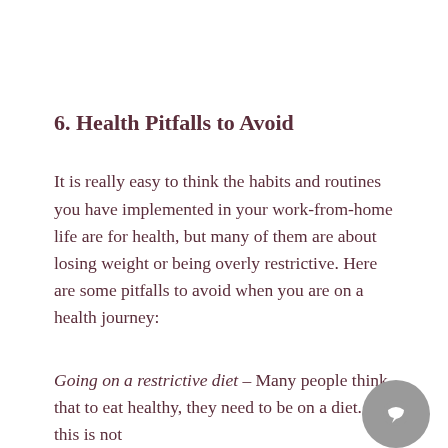6. Health Pitfalls to Avoid
It is really easy to think the habits and routines you have implemented in your work-from-home life are for health, but many of them are about losing weight or being overly restrictive. Here are some pitfalls to avoid when you are on a health journey:
Going on a restrictive diet – Many people think that to eat healthy, they need to be on a diet. But this is not